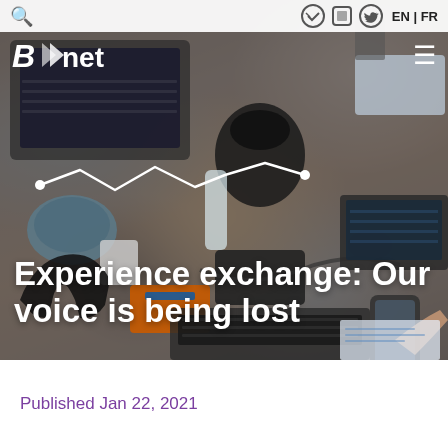EN | FR
[Figure (photo): Overhead view of a desk with laptops, keyboard, headphones, teapot, coffee cups, notebooks, a phone, and other office items. Dark overlay applied. BCnet logo and navigation at top. White zigzag line graphic overlaid on image.]
Experience exchange: Our voice is being lost
Published Jan 22, 2021